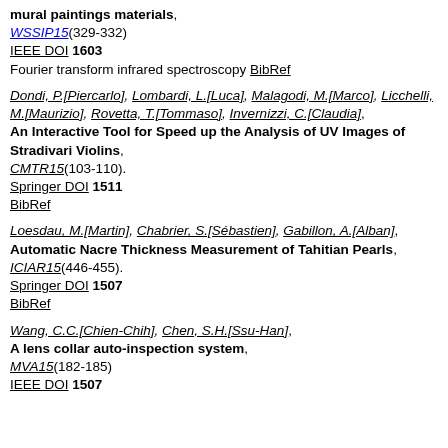mural paintings materials, WSSIP15(329-332) IEEE DOI 1603 Fourier transform infrared spectroscopy BibRef
Dondi, P.[Piercarlo], Lombardi, L.[Luca], Malagodi, M.[Marco], Licchelli, M.[Maurizio], Rovetta, T.[Tommaso], Invernizzi, C.[Claudia], An Interactive Tool for Speed up the Analysis of UV Images of Stradivari Violins, CMTR15(103-110). Springer DOI 1511 BibRef
Loesdau, M.[Martin], Chabrier, S.[Sébastien], Gabillon, A.[Alban], Automatic Nacre Thickness Measurement of Tahitian Pearls, ICIAR15(446-455). Springer DOI 1507 BibRef
Wang, C.C.[Chien-Chih], Chen, S.H.[Ssu-Han], A lens collar auto-inspection system, MVA15(182-185) IEEE DOI 1507